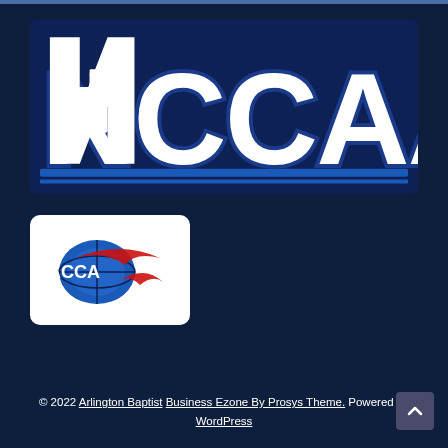[Figure (logo): NCCAA logo with large white block letters on dark navy background with blue underline stripe]
[Figure (logo): ACCA logo with globe and red swoosh on white rounded rectangle card]
© 2022 Arlington Baptist Business Ezone By Prosys Theme. Powered by WordPress